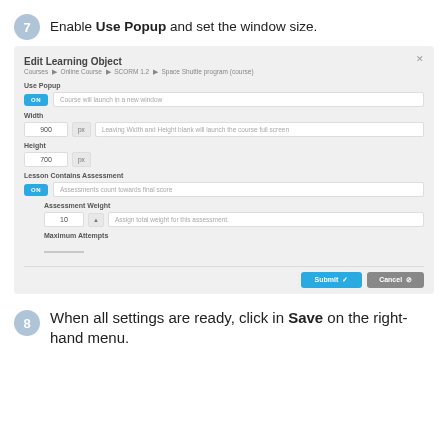7 Enable Use Popup and set the window size.
[Figure (screenshot): Edit Learning Object dialog showing Use Popup toggle (ON), Course will launch in a new window hint, Width field (900 px) with hint about full screen, Height field (700 px), Lesson Contains Assessment toggle (ON) with Assessments count towards final score hint, Assessment Weight field (10) with assign total weight hint, Maximum Attempts label, and Submit/Cancel buttons at the bottom.]
8 When all settings are ready, click in Save on the right-hand menu.